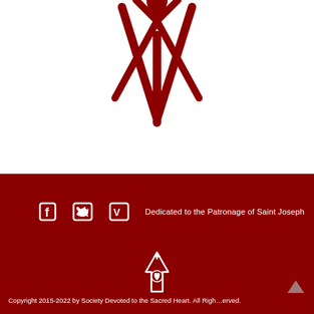[Figure (logo): Partial red stylized arrow/cross logo at top center, cropped at top]
[Figure (logo): Small white Sacred Heart arrow logo in footer center]
Dedicated to the Patronage of Saint Joseph
Copyright 2015-2022 by Society Devoted to the Sacred Heart. All Rights Reserved.